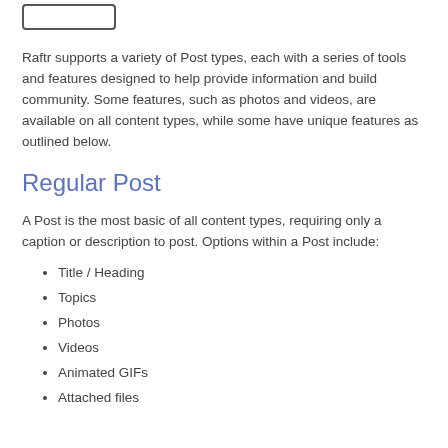[Figure (other): A button or UI element stub at the top of the page]
Raftr supports a variety of Post types, each with a series of tools and features designed to help provide information and build community. Some features, such as photos and videos, are available on all content types, while some have unique features as outlined below.
Regular Post
A Post is the most basic of all content types, requiring only a caption or description to post. Options within a Post include:
Title / Heading
Topics
Photos
Videos
Animated GIFs
Attached files